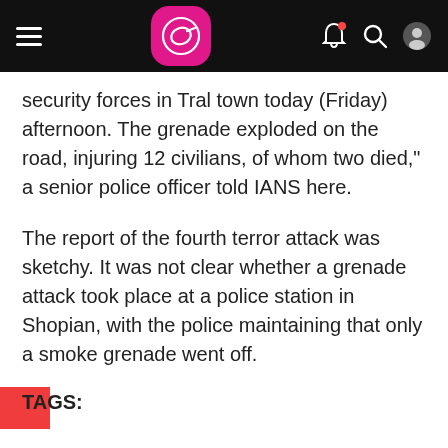Navigation bar with hamburger menu, logo, bell notification, search, and user icons
security forces in Tral town today (Friday) afternoon. The grenade exploded on the road, injuring 12 civilians, of whom two died," a senior police officer told IANS here.
The report of the fourth terror attack was sketchy. It was not clear whether a grenade attack took place at a police station in Shopian, with the police maintaining that only a smoke grenade went off.
TAGS: